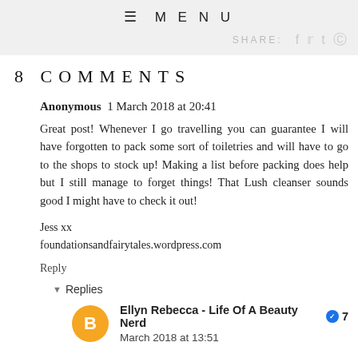≡ MENU   SHARE:
8 COMMENTS
Anonymous 1 March 2018 at 20:41
Great post! Whenever I go travelling you can guarantee I will have forgotten to pack some sort of toiletries and will have to go to the shops to stock up! Making a list before packing does help but I still manage to forget things! That Lush cleanser sounds good I might have to check it out!
Jess xx
foundationsandfairytales.wordpress.com
Reply
▾ Replies
Ellyn Rebecca - Life Of A Beauty Nerd ✔ 7 March 2018 at 13:51